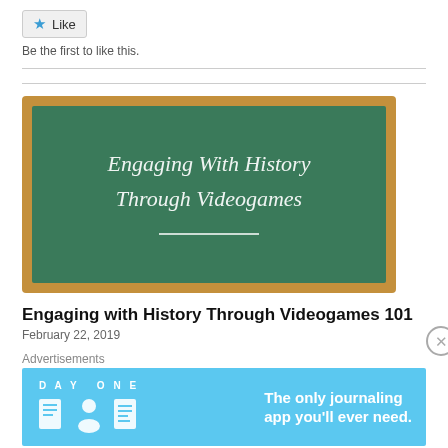Like
Be the first to like this.
[Figure (illustration): Chalkboard image with white handwritten-style text reading 'Engaging With History Through Videogames' with a horizontal underline below]
Engaging with History Through Videogames 101
February 22, 2019
Advertisements
[Figure (screenshot): Day One journaling app advertisement banner with light blue background, icons of a book, person, and notepad, text reading 'The only journaling app you'll ever need.']